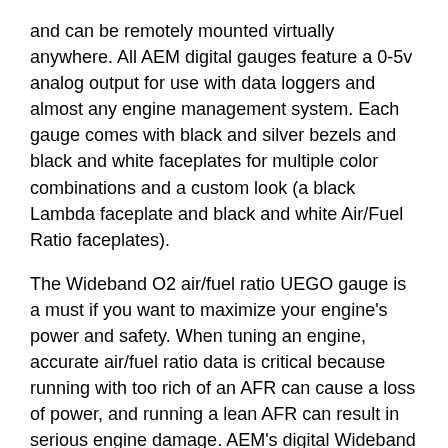and can be remotely mounted virtually anywhere. All AEM digital gauges feature a 0-5v analog output for use with data loggers and almost any engine management system. Each gauge comes with black and silver bezels and black and white faceplates for multiple color combinations and a custom look (a black Lambda faceplate and black and white Air/Fuel Ratio faceplates).
The Wideband O2 air/fuel ratio UEGO gauge is a must if you want to maximize your engine's power and safety. When tuning an engine, accurate air/fuel ratio data is critical because running with too rich of an AFR can cause a loss of power, and running a lean AFR can result in serious engine damage. AEM's digital Wideband AFR UEGO gauge can quickly alert you to even a .1 change in air/fuel ratio and provide enough time to shut down an engine before damage occurs.
Features:
Interchangeable black and white faceplates